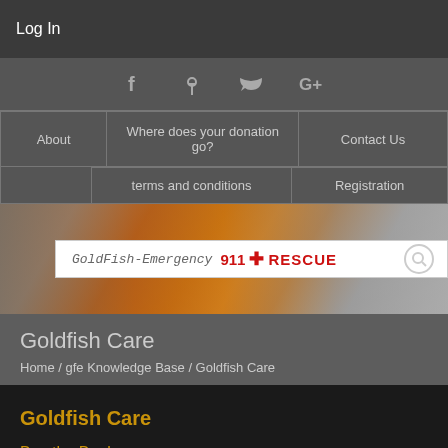Log In
[Figure (screenshot): Social media icons bar showing Facebook, Pinterest, Twitter, and Google+ icons]
About
Where does your donation go?
Contact Us
terms and conditions
Registration
[Figure (logo): GoldFish-Emergency 911 + RESCUE logo on white background with goldfish photo backdrop]
Goldfish Care
Home / gfe Knowledge Base / Goldfish Care
Goldfish Care
Buy the Books